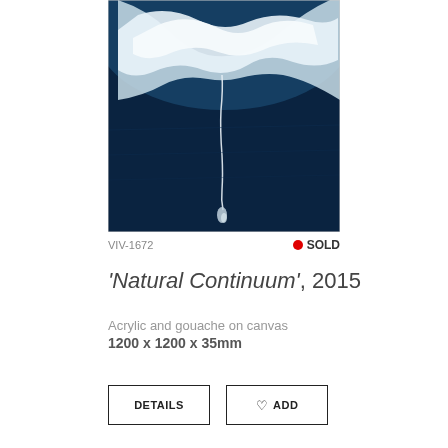[Figure (photo): Aerial or close-up photograph of a painting showing a white flowing form against a deep blue background, with a thin white thread or drip descending to a small teardrop shape at the bottom center. Artwork titled 'Natural Continuum', 2015.]
VIV-1672
● SOLD
'Natural Continuum', 2015
Acrylic and gouache on canvas
1200 x 1200 x 35mm
DETAILS
♡ ADD